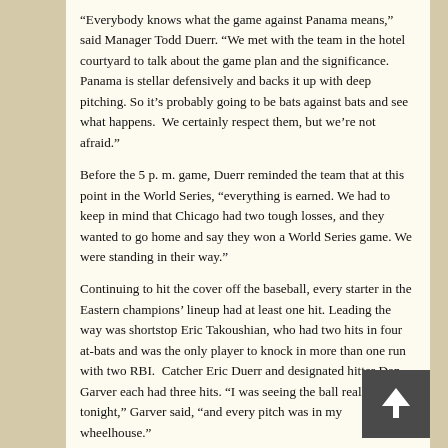“Everybody knows what the game against Panama means,” said Manager Todd Duerr. “We met with the team in the hotel courtyard to talk about the game plan and the significance. Panama is stellar defensively and backs it up with deep pitching. So it’s probably going to be bats against bats and see what happens.  We certainly respect them, but we’re not afraid.”
Before the 5 p. m. game, Duerr reminded the team that at this point in the World Series, “everything is earned. We had to keep in mind that Chicago had two tough losses, and they wanted to go home and say they won a World Series game. We were standing in their way.”
Continuing to hit the cover off the baseball, every starter in the Eastern champions’ lineup had at least one hit. Leading the way was shortstop Eric Takoushian, who had two hits in four at-bats and was the only player to knock in more than one run with two RBI.  Catcher Eric Duerr and designated hitter Dan Garver each had three hits. “I was seeing the ball really well tonight,” Garver said, “and every pitch was in my wheelhouse.”
In what has become expected for the Kings, Drew Jarmuz led off the game with a hard single through third base. Alex Pechin laid down a bunt single, followed by Eric Duerr’s hitting a single